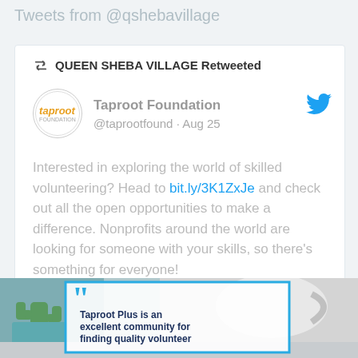Tweets from @qshebavillage
QUEEN SHEBA VILLAGE Retweeted
Taproot Foundation @taprootfound · Aug 25
Interested in exploring the world of skilled volunteering? Head to bit.ly/3K1ZxJe and check out all the open opportunities to make a difference. Nonprofits around the world are looking for someone with your skills, so there's something for everyone!
#SkilledVolunteer
[Figure (photo): Photo of a desk with a cactus plant and a mug, with an overlaid quote box with teal border and large quotation marks. The quote reads: Taproot Plus is an excellent community for finding quality volunteer and professional pro bono]